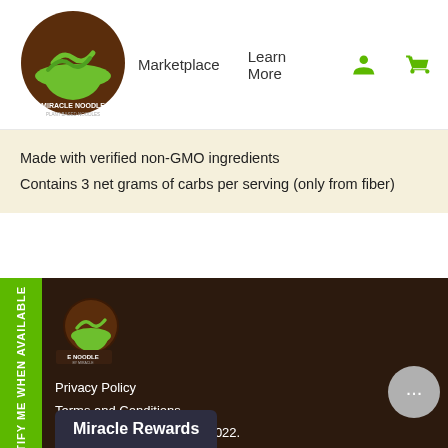[Figure (logo): Miracle Noodle logo - green noodle bowl with brown background]
Marketplace   Learn More
Made with verified non-GMO ingredients
Contains 3 net grams of carbs per serving (only from fiber)
NOTIFY ME WHEN AVAILABLE
[Figure (logo): Miracle Noodle small logo in footer]
Privacy Policy
Terms and Conditions
© Miracle Noodle Canada 2022.
All Rights Reserved.
rn More
ering Info
Miracle Rewards